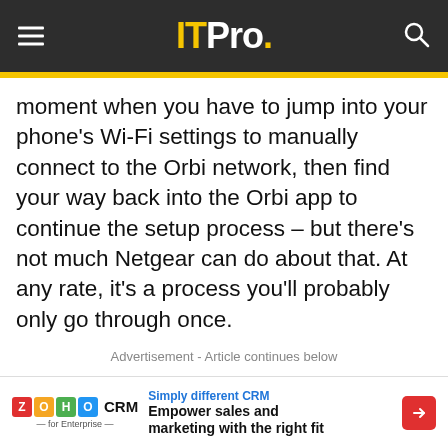ITPro.
moment when you have to jump into your phone's Wi-Fi settings to manually connect to the Orbi network, then find your way back into the Orbi app to continue the setup process – but there's not much Netgear can do about that. At any rate, it's a process you'll probably only go through once.
Advertisement - Article continues below
[Figure (other): Zoho CRM advertisement banner: Simply different CRM — Empower sales and marketing with the right fit]